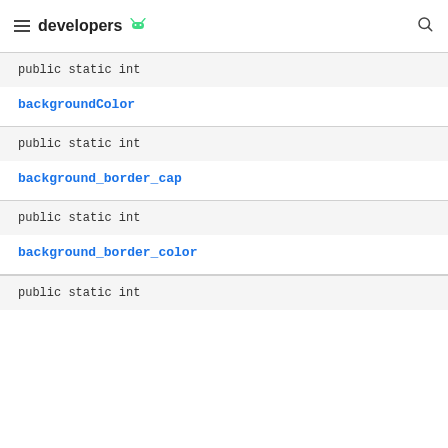developers
public static int
backgroundColor
public static int
background_border_cap
public static int
background_border_color
public static int